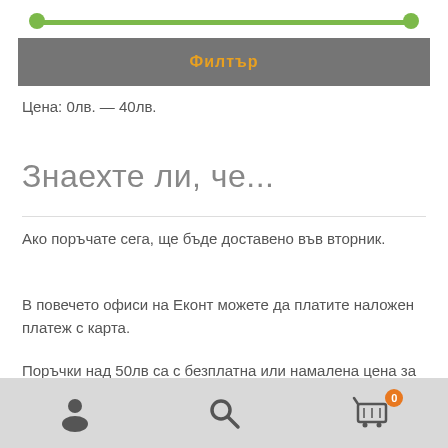[Figure (other): Green horizontal slider bar with circular handles on both ends]
Филтър
Цена: 0лв. — 40лв.
Знаехте ли, че...
Ако поръчате сега, ще бъде доставено във вторник.
В повечето офиси на Еконт можете да платите наложен платеж с карта.
Поръчки над 50лв са с безплатна или намалена цена за доставка.
[Figure (other): Bottom navigation bar with user icon, search icon, and shopping cart icon with orange badge showing 0]